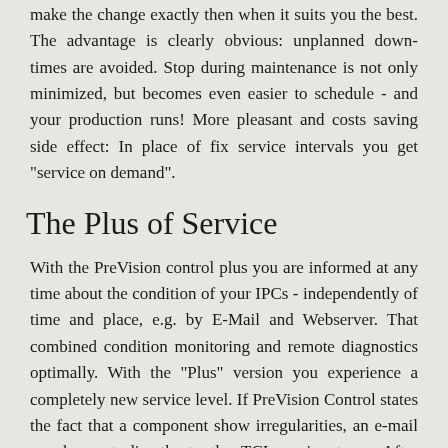make the change exactly then when it suits you the best. The advantage is clearly obvious: unplanned down-times are avoided. Stop during maintenance is not only minimized, but becomes even easier to schedule - and your production runs! More pleasant and costs saving side effect: In place of fix service intervals you get "service on demand".
The Plus of Service
With the PreVision control plus you are informed at any time about the condition of your IPCs - independently of time and place, e.g. by E-Mail and Webserver. That combined condition monitoring and remote diagnostics optimally. With the "Plus" version you experience a completely new service level. If PreVision Control states the fact that a component show irregularities, an e-mail can be sent directly to the TCI service team. After checking the log file, the suitable spare part can be sent to